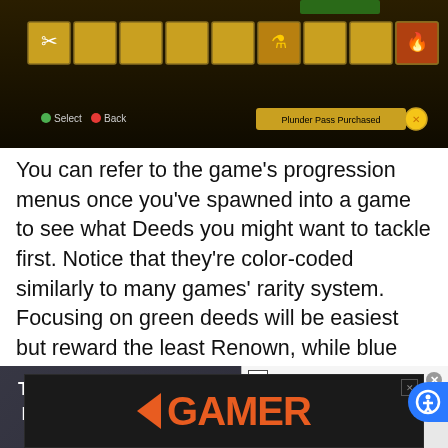[Figure (screenshot): Game screenshot showing inventory/progression menu with gold-colored item slots and HUD elements including Select/Back buttons and 'Plunder Pass Purchased' indicator]
You can refer to the game's progression menus once you've spawned into a game to see what Deeds you might want to tackle first. Notice that they're color-coded similarly to many games' rarity system. Focusing on green deeds will be easiest but reward the least Renown, while blue and purple deeds will offer larger amounts of Renown, but it's...
[Figure (screenshot): Media error overlay reading 'The media could not be loaded, either because the server or network failed or because the format is not supported.' with an X button, overlaid on a basketball player image. Side panel shows 'Celtics' Danilo Out For Season! 2022-23 NBA Season']
to tier 30 like it's the crow's nest, pirate.
[Figure (logo): Game Rant / Gamer advertisement banner with orange arrow logo and GAMER text in orange on dark background]